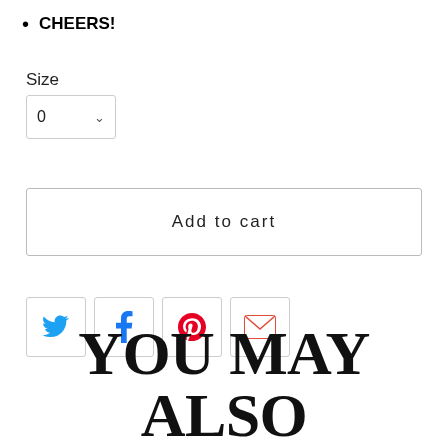CHEERS!
Size
[Figure (screenshot): Dropdown selector showing value 0 with chevron arrow]
[Figure (screenshot): Add to cart button with border]
[Figure (infographic): Row of four social sharing icon buttons: Twitter (blue bird), Facebook (blue f), Pinterest (red p), Email (red envelope)]
YOU MAY ALSO